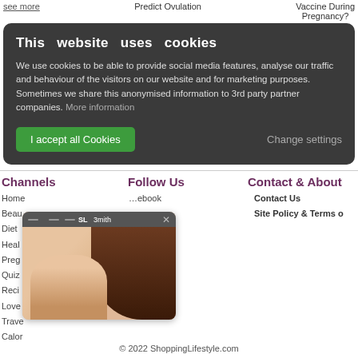see more | Predict Ovulation | Vaccine During Pregnancy?
This website uses cookies

We use cookies to be able to provide social media features, analyse our traffic and behaviour of the visitors on our website and for marketing purposes. Sometimes we share this anonymised information to 3rd party partner companies. More information
I accept all Cookies | Change settings
Channels
Follow Us
Contact & About
Home
Beauty
Diet
Health
Pregnancy
Quizzes
Recipes
Love
Travel
Calorie
Facebook
Contact Us
Site Policy & Terms of ...
[Figure (screenshot): Thumbnail overlay showing SL Smith label with close button and partial face/hair photo]
© 2022 ShoppingLifestyle.com